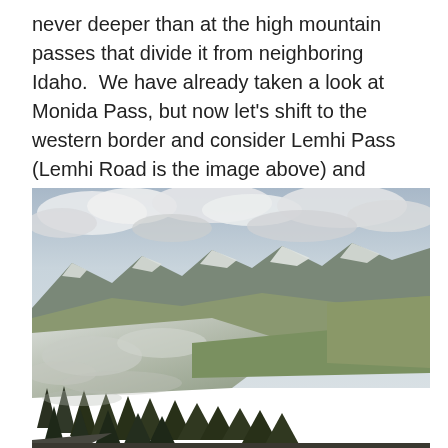never deeper than at the high mountain passes that divide it from neighboring Idaho.  We have already taken a look at Monida Pass, but now let's shift to the western border and consider Lemhi Pass (Lemhi Road is the image above) and Bannock Pass, both at well over 7000 feet in elevation.
[Figure (photo): Landscape photograph taken from a high mountain pass showing snow-dusted rolling hills in the foreground, evergreen trees along the bottom edge, a wide valley in the middle ground, and snow-capped mountain ranges under a cloudy sky in the background.]